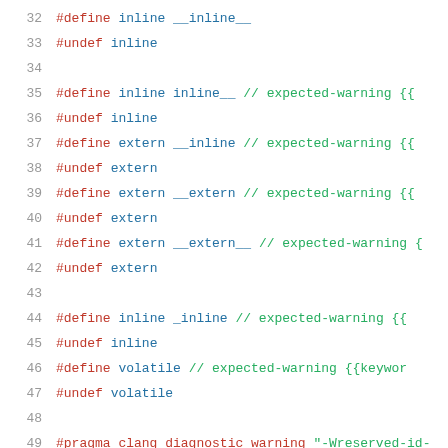32  #define inline __inline__
33  #undef  inline
34
35  #define inline inline__  // expected-warning {{
36  #undef  inline
37  #define extern __inline  // expected-warning {{
38  #undef  extern
39  #define extern __extern  // expected-warning {{
40  #undef  extern
41  #define extern __extern__ // expected-warning {
42  #undef  extern
43
44  #define inline _inline    // expected-warning {{
45  #undef  inline
46  #define volatile  // expected-warning {{keyword
47  #undef  volatile
48
49  #pragma clang diagnostic warning "-Wreserved-id-
50
51  #define switch if  // expected-warning {{keyword
52  #define final 1